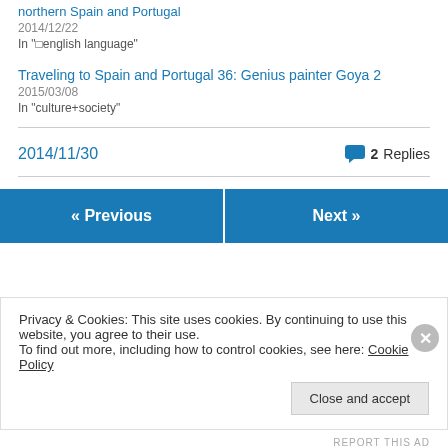northern Spain and Portugal
2014/12/22
In "❑english language"
Traveling to Spain and Portugal 36: Genius painter Goya 2
2015/03/08
In "culture+society"
2014/11/30
2 Replies
« Previous
Next »
Privacy & Cookies: This site uses cookies. By continuing to use this website, you agree to their use.
To find out more, including how to control cookies, see here: Cookie Policy
Close and accept